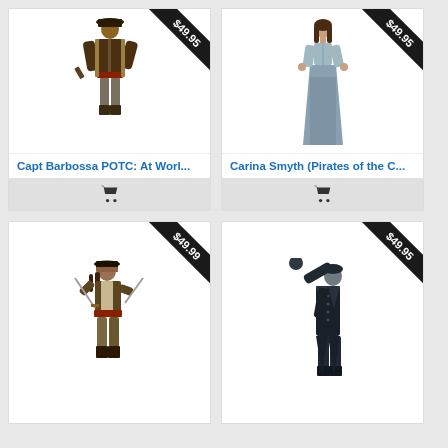[Figure (photo): Capt Barbossa Pirates of the Caribbean cardboard standee figure, full body, wearing ornate pirate costume with hat and pistol. Price ribbon: $49.95]
Capt Barbossa POTC: At Worl...
[Figure (photo): Carina Smyth Pirates of the Caribbean cardboard standee figure, full body, wearing light teal/blue dress. Price ribbon: $49.95]
Carina Smyth (Pirates of the C...
[Figure (photo): Jack Sparrow Pirates of the Caribbean cardboard standee figure, full body with swords. Price ribbon: $49.99]
[Figure (photo): Ghost/villain character Pirates of the Caribbean cardboard standee figure in dark coat. Price ribbon: $49.95]